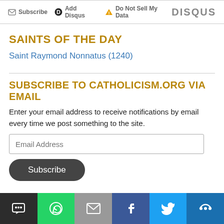Subscribe  Add Disqus  Do Not Sell My Data  DISQUS
SAINTS OF THE DAY
Saint Raymond Nonnatus (1240)
SUBSCRIBE TO CATHOLICISM.ORG VIA EMAIL
Enter your email address to receive notifications by email every time we post something to the site.
Email Address
Subscribe